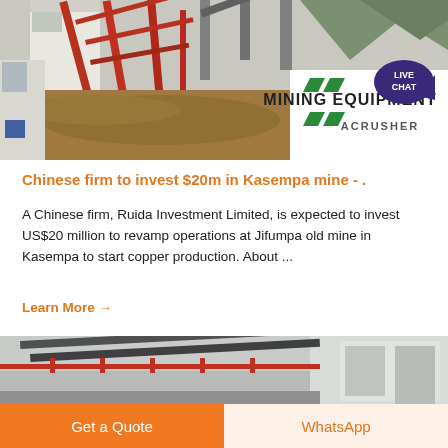[Figure (photo): Mining equipment facility with conveyor belts, industrial structure with red metal framework, muddy water area, and an ACrusher Mining Equipment advertisement overlay on the right side of the image.]
Chinese firm to invest $20m in Kasempa mine - .
A Chinese firm, Ruida Investment Limited, is expected to invest US$20 million to revamp operations at Jifumpa old mine in Kasempa to start copper production. About ...
Learn More →
[Figure (photo): Partial view of a mining or industrial facility with conveyor belts and metal structures, partially cropped.]